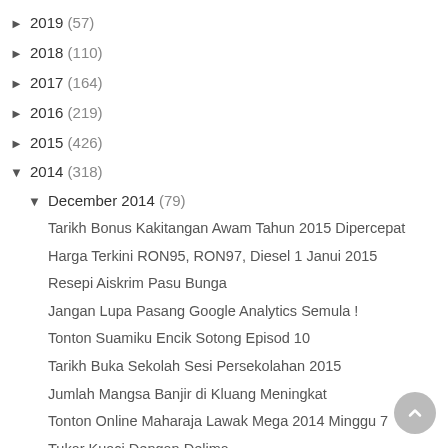► 2019 (57)
► 2018 (110)
► 2017 (164)
► 2016 (219)
► 2015 (426)
▼ 2014 (318)
▼ December 2014 (79)
Tarikh Bonus Kakitangan Awam Tahun 2015 Dipercepat
Harga Terkini RON95, RON97, Diesel 1 Janui 2015
Resepi Aiskrim Pasu Bunga
Jangan Lupa Pasang Google Analytics Semula !
Tonton Suamiku Encik Sotong Episod 10
Tarikh Buka Sekolah Sesi Persekolahan 2015
Jumlah Mangsa Banjir di Kluang Meningkat
Tonton Online Maharaja Lawak Mega 2014 Minggu 7
Tukar Kuaci Dengan Delima
Kereta Bertembung Dengan Hilux